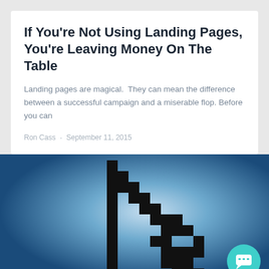If You're Not Using Landing Pages, You're Leaving Money On The Table
Landing pages are magical.  They can mean the difference between a successful campaign and a miserable flop. Before you can
Ron Cass · September 11, 2015
[Figure (photo): Large pixelated computer cursor arrow on a blue gradient background, with a teal chat button in the bottom right corner.]